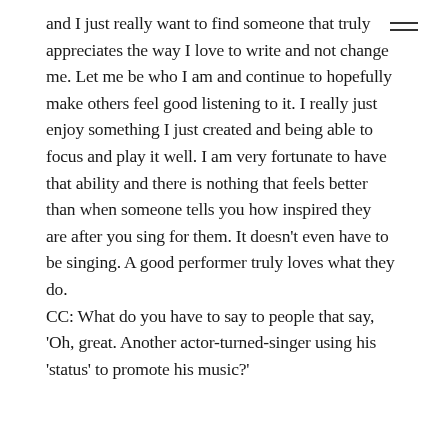and I just really want to find someone that truly appreciates the way I love to write and not change me. Let me be who I am and continue to hopefully make others feel good listening to it. I really just enjoy something I just created and being able to focus and play it well. I am very fortunate to have that ability and there is nothing that feels better than when someone tells you how inspired they are after you sing for them. It doesn't even have to be singing. A good performer truly loves what they do. CC: What do you have to say to people that say, 'Oh, great. Another actor-turned-singer using his 'status' to promote his music?'